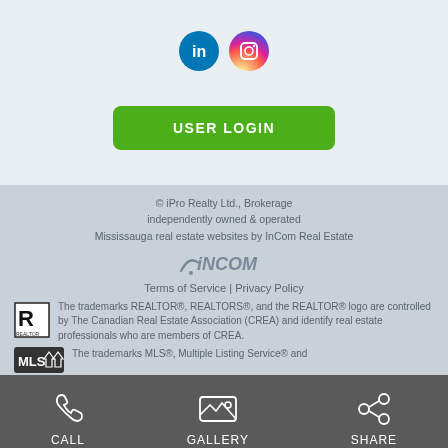[Figure (other): LinkedIn and Instagram social media icons]
USER LOGIN
© iPro Realty Ltd., Brokerage independently owned & operated Mississauga real estate websites by InCom Real Estate
[Figure (logo): iNCOM logo with wifi signal icon]
Terms of Service | Privacy Policy
The trademarks REALTOR®, REALTORS®, and the REALTOR® logo are controlled by The Canadian Real Estate Association (CREA) and identify real estate professionals who are members of CREA.
The trademarks MLS®, Multiple Listing Service® and
CALL
GALLERY
SHARE